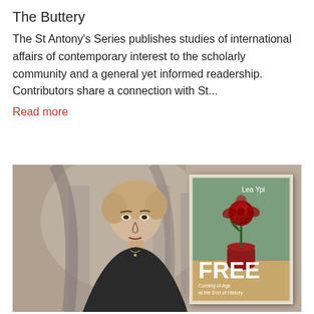The Buttery
The St Antony's Series publishes studies of international affairs of contemporary interest to the scholarly community and a general yet informed readership. Contributors share a connection with St...
Read more
[Figure (photo): Black and white portrait photograph of a woman (Lea Ypi) with a book cover overlay showing 'FREE: Coming of Age at the End of History' by Lea Ypi, featuring a red rose in a red vase on a sandy background with green cover.]